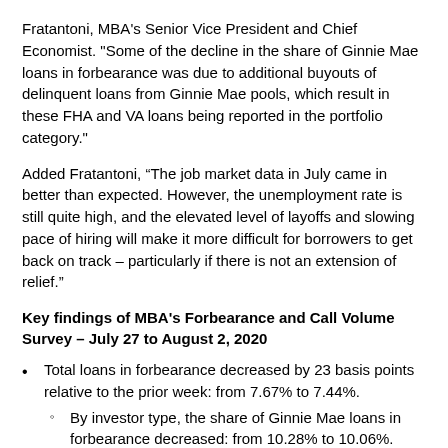Fratantoni, MBA's Senior Vice President and Chief Economist. "Some of the decline in the share of Ginnie Mae loans in forbearance was due to additional buyouts of delinquent loans from Ginnie Mae pools, which result in these FHA and VA loans being reported in the portfolio category."
Added Fratantoni, “The job market data in July came in better than expected. However, the unemployment rate is still quite high, and the elevated level of layoffs and slowing pace of hiring will make it more difficult for borrowers to get back on track – particularly if there is not an extension of relief.”
Key findings of MBA's Forbearance and Call Volume Survey – July 27 to August 2, 2020
Total loans in forbearance decreased by 23 basis points relative to the prior week: from 7.67% to 7.44%.
By investor type, the share of Ginnie Mae loans in forbearance decreased: from 10.28% to 10.06%.